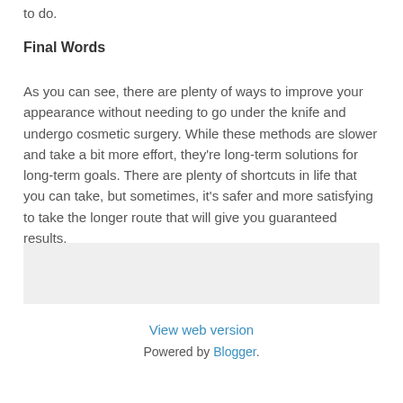to do.
Final Words
As you can see, there are plenty of ways to improve your appearance without needing to go under the knife and undergo cosmetic surgery. While these methods are slower and take a bit more effort, they’re long-term solutions for long-term goals. There are plenty of shortcuts in life that you can take, but sometimes, it’s safer and more satisfying to take the longer route that will give you guaranteed results.
[Figure (other): Gray placeholder box]
< Home > View web version Powered by Blogger.